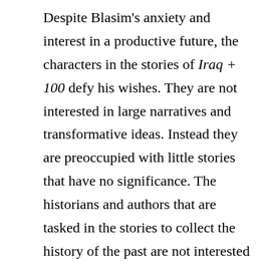Despite Blasim's anxiety and interest in a productive future, the characters in the stories of Iraq + 100 defy his wishes. They are not interested in large narratives and transformative ideas. Instead they are preoccupied with little stories that have no significance. The historians and authors that are tasked in the stories to collect the history of the past are not interested in recovery or in the construction of reliable narratives. Instead, they are invested in the eclectic and unrepresentative.35 The lack of significance is supplanted by the melodramatic, where the characters knowingly obsess about their little lives and reject any interest in the